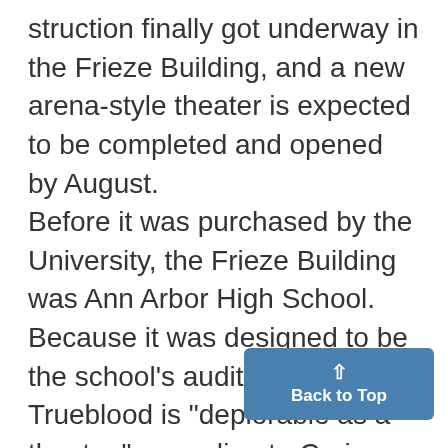struction finally got underway in the Frieze Building, and a new arena-style theater is expected to be completed and opened by August. Before it was purchased by the University, the Frieze Building was Ann Arbor High School. Because it was designed to be the school's auditorium, the Trueblood is "deplorable as a theater," according to Craig Wolf, lighting and technical director of the Department of Theater and Drama. THE DEPARTMENT has been "trying to get Trueblood remod...